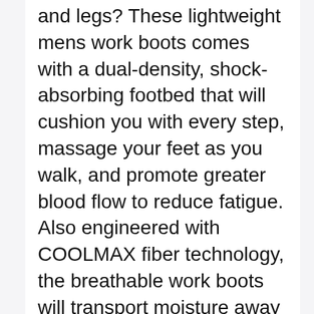and legs? These lightweight mens work boots comes with a dual-density, shock-absorbing footbed that will cushion you with every step, massage your feet as you walk, and promote greater blood flow to reduce fatigue. Also engineered with COOLMAX fiber technology, the breathable work boots will transport moisture away from your feet so they stay cool and dry.
🔲Lightweight & Abrasion-resistant Outsole🔲These SOFT TOE work boots are equipped with long wearing Dual density PU / PU injection outsole, which is antistatic and long-lasting, slip-resist...